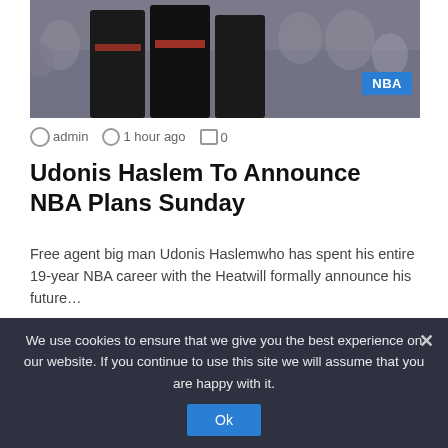[Figure (photo): Basketball players in dark uniforms with crowd in background, NBA badge overlay]
admin  1 hour ago  0
Udonis Haslem To Announce NBA Plans Sunday
Free agent big man Udonis Haslemwho has spent his entire 19-year NBA career with the Heatwill formally announce his future…
Read More »
We use cookies to ensure that we give you the best experience on our website. If you continue to use this site we will assume that you are happy with it.
Ok